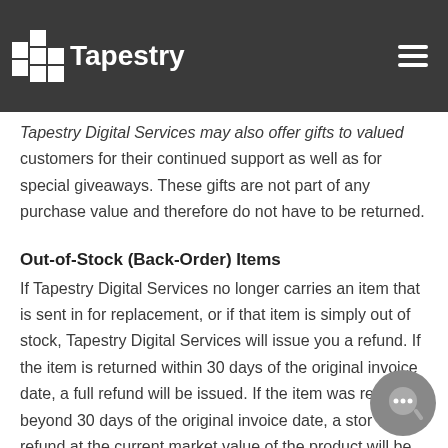the refund total.
Tapestry
Tapestry Digital Services may also offer gifts to valued customers for their continued support as well as for special giveaways. These gifts are not part of any purchase value and therefore do not have to be returned.
Out-of-Stock (Back-Order) Items
If Tapestry Digital Services no longer carries an item that is sent in for replacement, or if that item is simply out of stock, Tapestry Digital Services will issue you a refund. If the item is returned within 30 days of the original invoice date, a full refund will be issued. If the item was returned beyond 30 days of the original invoice date, a store refund at the current market value of the product will be